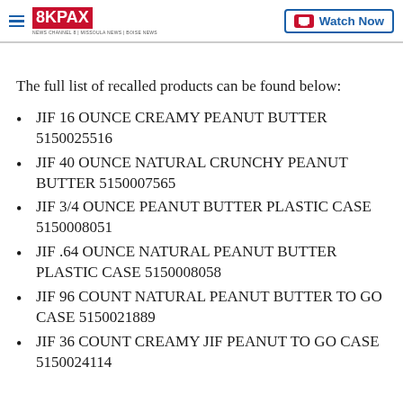8KPAX — Watch Now
The full list of recalled products can be found below:
JIF 16 OUNCE CREAMY PEANUT BUTTER 5150025516
JIF 40 OUNCE NATURAL CRUNCHY PEANUT BUTTER 5150007565
JIF 3/4 OUNCE PEANUT BUTTER PLASTIC CASE 5150008051
JIF .64 OUNCE NATURAL PEANUT BUTTER PLASTIC CASE 5150008058
JIF 96 COUNT NATURAL PEANUT BUTTER TO GO CASE 5150021889
JIF 36 COUNT CREAMY JIF PEANUT TO GO CASE 5150024114